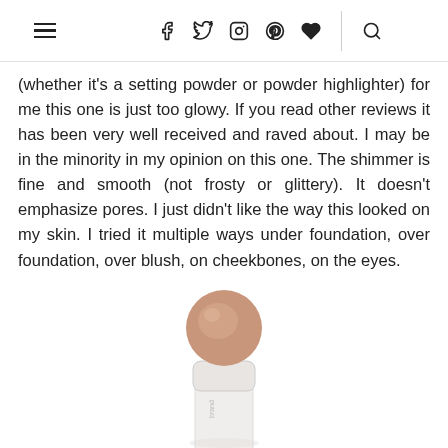Navigation header with hamburger menu, social icons (facebook, twitter, instagram, pinterest, heart), and search icon
(whether it's a setting powder or powder highlighter) for me this one is just too glowy. If you read other reviews it has been very well received and raved about. I may be in the minority in my opinion on this one. The shimmer is fine and smooth (not frosty or glittery). It doesn't emphasize pores. I just didn't like the way this looked on my skin. I tried it multiple ways under foundation, over foundation, over blush, on cheekbones, on the eyes.
[Figure (photo): A cosmetic highlighter stick product with a round peach/nude-toned top, shown partially cropped at the bottom of the page]